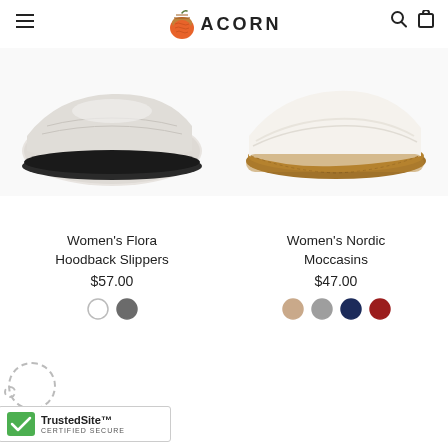[Figure (logo): Acorn brand logo with acorn icon and text ACORN in bold letters]
[Figure (photo): Bottom/sole view of Women's Flora Hoodback Slippers - light grey wool upper with black rubber sole]
[Figure (photo): Bottom/sole view of Women's Nordic Moccasins - cream/white upper with tan suede moccasin sole]
Women’s Flora Hoodback Slippers
$57.00
Women’s Nordic Moccasins
$47.00
[Figure (infographic): TrustedSite Certified Secure badge with green checkmark]
CERTIFIED SECURE